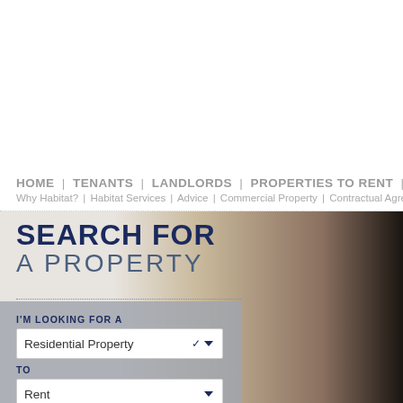HOME | TENANTS | LANDLORDS | PROPERTIES TO RENT | PROP...
Why Habitat? | Habitat Services | Advice | Commercial Property | Contractual Agree...
SEARCH FOR A PROPERTY
I'M LOOKING FOR A
Residential Property
TO
Rent
WHICH IS A
Any
WITH